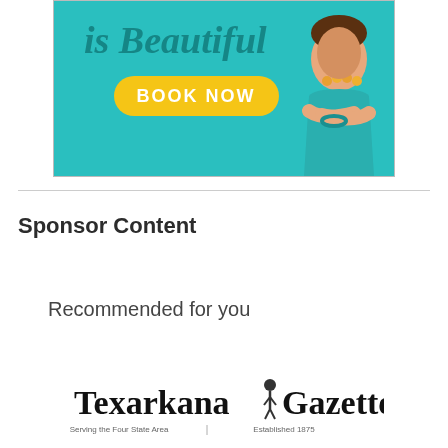[Figure (illustration): Advertisement banner showing text 'is Beautiful' in teal italic font with a yellow 'BOOK NOW' button and a woman in a teal top with crossed arms and amber necklace]
Sponsor Content
Recommended for you
[Figure (logo): Texarkana Gazette logo in blackletter/old English font with tagline 'Serving the Four State Area | Established 1875']